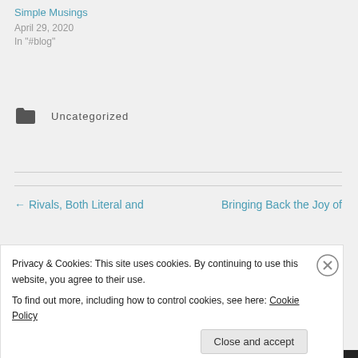Simple Musings
April 29, 2020
In "#blog"
Uncategorized
← Rivals, Both Literal and
Bringing Back the Joy of
Privacy & Cookies: This site uses cookies. By continuing to use this website, you agree to their use.
To find out more, including how to control cookies, see here: Cookie Policy
Close and accept